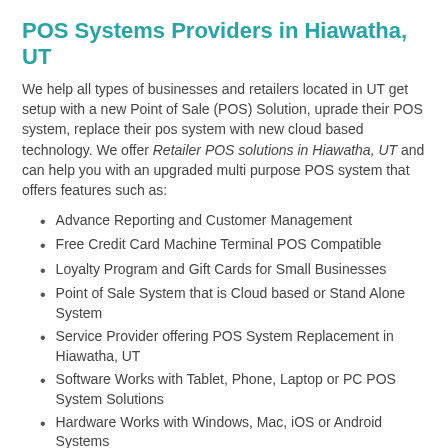POS Systems Providers in Hiawatha, UT
We help all types of businesses and retailers located in UT get setup with a new Point of Sale (POS) Solution, uprade their POS system, replace their pos system with new cloud based technology. We offer Retailer POS solutions in Hiawatha, UT and can help you with an upgraded multi purpose POS system that offers features such as:
Advance Reporting and Customer Management
Free Credit Card Machine Terminal POS Compatible
Loyalty Program and Gift Cards for Small Businesses
Point of Sale System that is Cloud based or Stand Alone System
Service Provider offering POS System Replacement in Hiawatha, UT
Software Works with Tablet, Phone, Laptop or PC POS System Solutions
Hardware Works with Windows, Mac, iOS or Android Systems
Replace your outdated POS with a New Modern Point of Sale Systems in UT
Integrated Chip Card Reader and Credit Card Processing